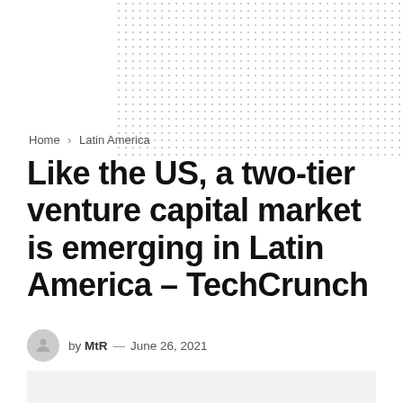Home > Latin America
Like the US, a two-tier venture capital market is emerging in Latin America – TechCrunch
by MtR — June 26, 2021